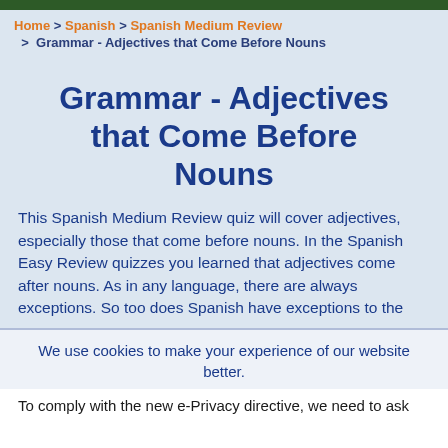Home > Spanish > Spanish Medium Review > Grammar - Adjectives that Come Before Nouns
Grammar - Adjectives that Come Before Nouns
This Spanish Medium Review quiz will cover adjectives, especially those that come before nouns. In the Spanish Easy Review quizzes you learned that adjectives come after nouns. As in any language, there are always exceptions. So too does Spanish have exceptions to the
We use cookies to make your experience of our website better.
To comply with the new e-Privacy directive, we need to ask